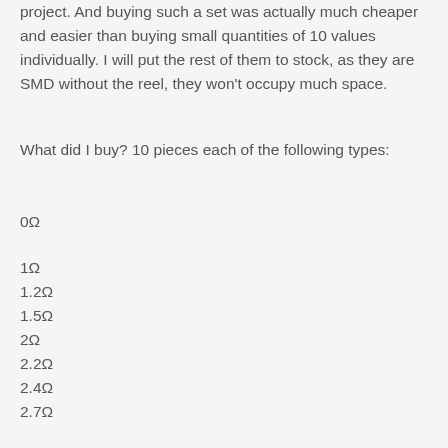project. And buying such a set was actually much cheaper and easier than buying small quantities of 10 values individually. I will put the rest of them to stock, as they are SMD without the reel, they won't occupy much space.
What did I buy? 10 pieces each of the following types:
0Ω
1Ω
1.2Ω
1.5Ω
2Ω
2.2Ω
2.4Ω
2.7Ω
3Ω
3.3Ω
3.6Ω
3.9Ω
4.7Ω
5.1Ω